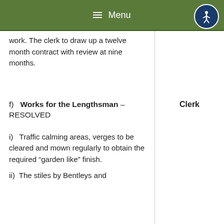Menu
work. The clerk to draw up a twelve month contract with review at nine months.
f)   Works for the Lengthsman – RESOLVED
Clerk
i)   Traffic calming areas, verges to be cleared and mown regularly to obtain the required “garden like” finish.
ii)  The stiles by Bentleys and